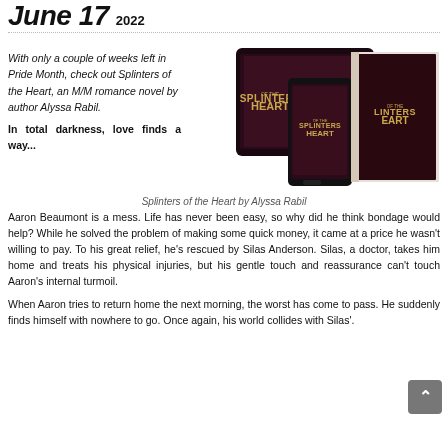June 17 2022
With only a couple of weeks left in Pride Month, check out Splinters of the Heart, an M/M romance novel by author Alyssa Rabil.
In total darkness, love finds a way...
[Figure (photo): Book cover images of 'Splinters of the Heart' shown on tablet, phone, and physical book formats with dark purple/maroon cover featuring a male figure]
Splinters of the Heart by Alyssa Rabil
Aaron Beaumont is a mess. Life has never been easy, so why did he think bondage would help? While he solved the problem of making some quick money, it came at a price he wasn't willing to pay. To his great relief, he's rescued by Silas Anderson. Silas, a doctor, takes him home and treats his physical injuries, but his gentle touch and reassurance can't touch Aaron's internal turmoil.
When Aaron tries to return home the next morning, the worst has come to pass. He suddenly finds himself with nowhere to go. Once again, his world collides with Silas'.